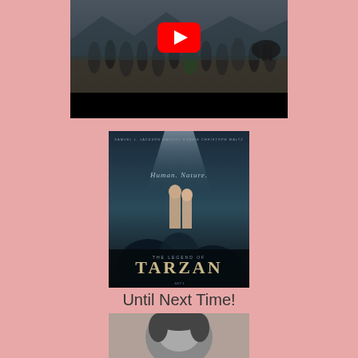[Figure (screenshot): YouTube video thumbnail showing a battle/action scene with many figures running, with a YouTube play button overlay, and a black bar at the bottom]
[Figure (photo): The Legend of Tarzan movie poster showing Tarzan and a woman surrounded by gorillas, with text 'THE LEGEND OF TARZAN' at the bottom]
Until Next Time!
[Figure (photo): Black and white photo of a person, partially visible at the bottom of the page]